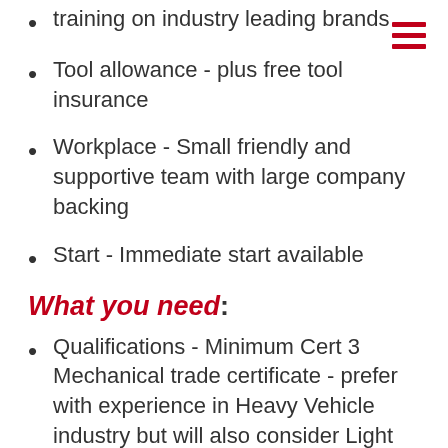training on industry leading brands
Tool allowance - plus free tool insurance
Workplace - Small friendly and supportive team with large company backing
Start - Immediate start available
What you need:
Qualifications - Minimum Cert 3 Mechanical trade certificate - prefer with experience in Heavy Vehicle industry but will also consider Light Vehicle Mechanics looking for a career